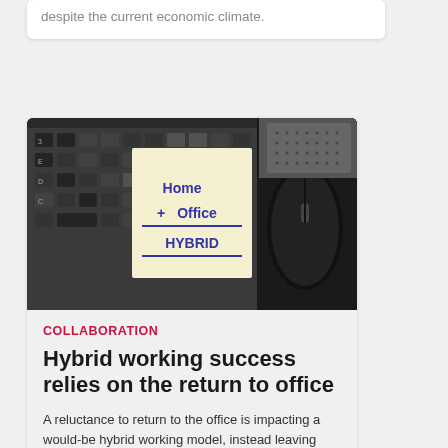despite the current economic climate.
[Figure (photo): A sticky note on a laptop keyboard with 'Home + Office = HYBRID' written on it, with a computer mouse visible on the right.]
COLLABORATION
Hybrid working success relies on the return to office
A reluctance to return to the office is impacting a would-be hybrid working model, instead leaving businesses with a mostly-remote workforce.